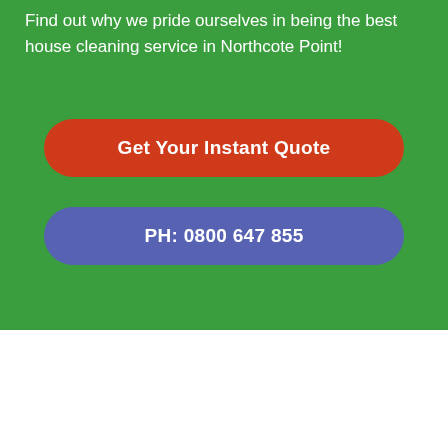Find out why we pride ourselves in being the best house cleaning service in Northcote Point!
Get Your Instant Quote
PH: 0800 647 855